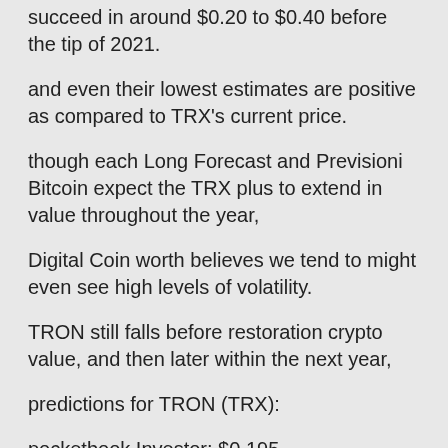succeed in around $0.20 to $0.40 before the tip of 2021.
and even their lowest estimates are positive as compared to TRX's current price.
though each Long Forecast and Previsioni Bitcoin expect the TRX plus to extend in value throughout the year,
Digital Coin worth believes we tend to might even see high levels of volatility.
TRON still falls before restoration crypto value, and then later within the next year,
predictions for TRON (TRX):
pocketbook Investor: $0.195
Cryptocurrency worth Prediction: $0.35
Coin Switch: $0.4